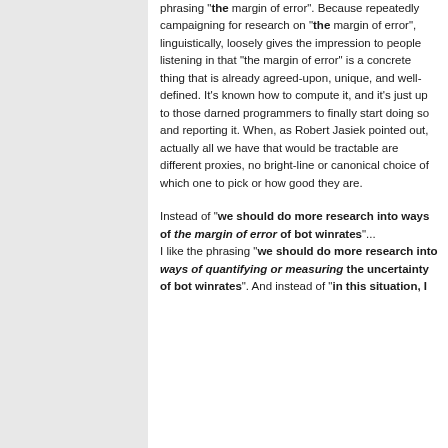phrasing "the margin of error". Because repeatedly campaigning for research on "the margin of error", linguistically, loosely gives the impression to people listening in that "the margin of error" is a concrete thing that is already agreed-upon, unique, and well-defined. It's known how to compute it, and it's just up to those darned programmers to finally start doing so and reporting it. When, as Robert Jasiek pointed out, actually all we have that would be tractable are different proxies, no bright-line or canonical choice of which one to pick or how good they are.
Instead of "we should do more research into ways of the margin of error of bot winrates"... I like the phrasing "we should do more research into ways of quantifying or measuring the uncertainty of bot winrates". And instead of "in this situation, I